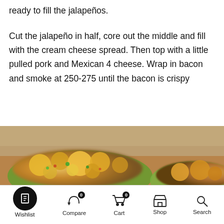ready to fill the jalapeños.
Cut the jalapeño in half, core out the middle and fill with the cream cheese spread. Then top with a little pulled pork and Mexican 4 cheese. Wrap in bacon and smoke at 250-275 until the bacon is crispy
[Figure (photo): Close-up photo of stuffed jalapeños filled with cheese and pulled pork mixture, showing melted orange/yellow cheese topping on green jalapeño halves]
Wishlist  Compare 0  Cart 0  Shop  Search